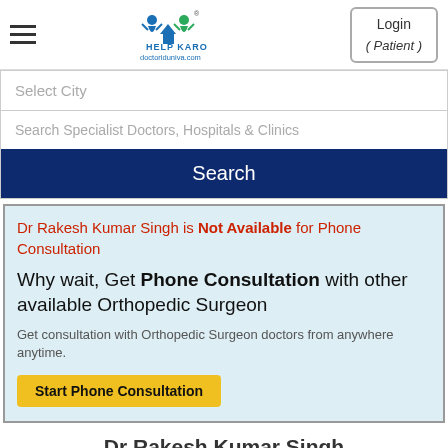[Figure (logo): Help Karo doctoriduniya.com logo with stylized figures and house icon]
Login ( Patient )
Select City
Search Specialist Doctors, Hospitals & Clinics
Search
Dr Rakesh Kumar Singh is Not Available for Phone Consultation
Why wait, Get Phone Consultation with other available Orthopedic Surgeon
Get consultation with Orthopedic Surgeon doctors from anywhere anytime.
Start Phone Consultation
Dr Rakesh Kumar Singh